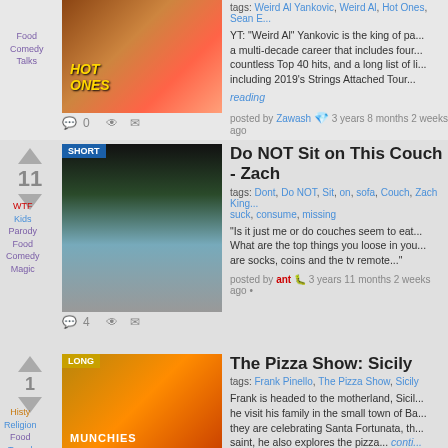Food Comedy Talks
[Figure (photo): Hot Ones YouTube thumbnail showing curly-haired person with Hot Ones logo]
tags: Weird Al Yankovic, Weird Al, Hot Ones, Sean E...
YT: "Weird Al" Yankovic is the king of pa... a multi-decade career that includes four... countless Top 40 hits, and a long list of li... including 2019's Strings Attached Tour...
reading
posted by Zawash 3 years 8 months 2 weeks ago
11
WTF Kids Parody Food Comedy Magic
[Figure (photo): Short video thumbnail showing person sitting/reaching near a couch in a living room (Zach King style magic video)]
Do NOT Sit on This Couch - Zach
tags: Dont, Do NOT, Sit, on, sofa, Couch, Zach King... suck, consume, missing
"Is it just me or do couches seem to eat... What are the top things you loose in you... are socks, coins and the tv remote..."
posted by ant 3 years 11 months 2 weeks ago •
1
Histy Religion Food Travel
[Figure (photo): Munchies long video thumbnail showing man with pizza in Sicily]
The Pizza Show: Sicily
tags: Frank Pinello, The Pizza Show, Sicily
Frank is headed to the motherland, Sicil... he visit his family in the small town of Ba... they are celebrating Santa Fortunata, th... saint, he also explores the pizza... conti...